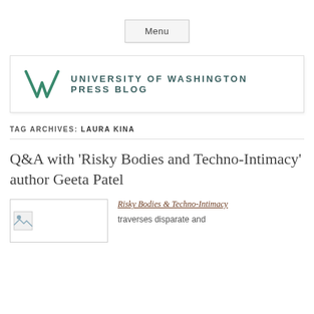Menu
[Figure (logo): University of Washington Press Blog logo with green angular W symbol and text UNIVERSITY OF WASHINGTON PRESS BLOG]
TAG ARCHIVES: LAURA KINA
Q&A with ‘Risky Bodies and Techno-Intimacy’ author Geeta Patel
[Figure (photo): Book cover placeholder image]
Risky Bodies & Techno-Intimacy traverses disparate and